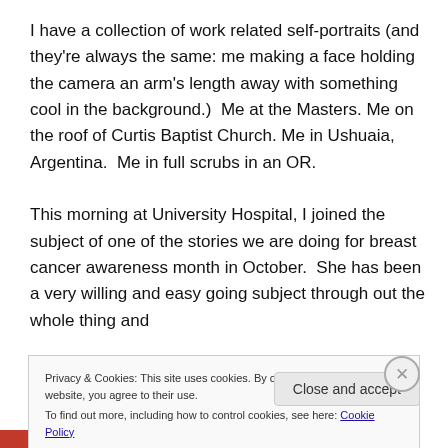I have a collection of work related self-portraits (and they're always the same: me making a face holding the camera an arm's length away with something cool in the background.)  Me at the Masters. Me on the roof of Curtis Baptist Church. Me in Ushuaia, Argentina.  Me in full scrubs in an OR.

This morning at University Hospital, I joined the subject of one of the stories we are doing for breast cancer awareness month in October.  She has been a very willing and easy going subject through out the whole thing and
Privacy & Cookies: This site uses cookies. By continuing to use this website, you agree to their use.
To find out more, including how to control cookies, see here: Cookie Policy
Close and accept